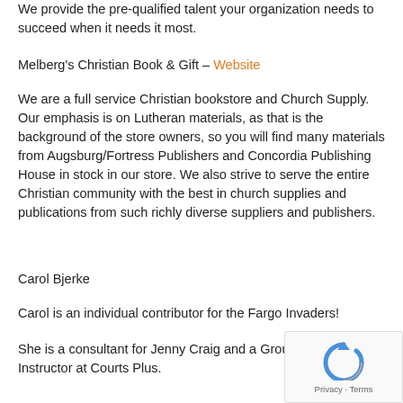We provide the pre-qualified talent your organization needs to succeed when it needs it most.
Melberg's Christian Book & Gift – Website
We are a full service Christian bookstore and Church Supply. Our emphasis is on Lutheran materials, as that is the background of the store owners, so you will find many materials from Augsburg/Fortress Publishers and Concordia Publishing House in stock in our store. We also strive to serve the entire Christian community with the best in church supplies and publications from such richly diverse suppliers and publishers.
Carol Bjerke
Carol is an individual contributor for the Fargo Invaders!
She is a consultant for Jenny Craig and a Group Fitness Instructor at Courts Plus.
[Figure (other): reCAPTCHA widget with privacy and terms text]